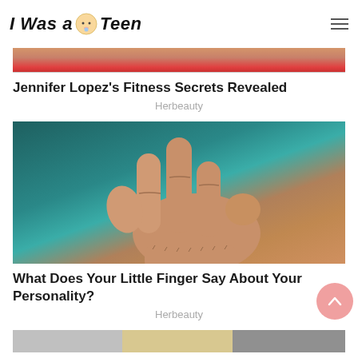I Was a Teen
[Figure (photo): Partial image of Jennifer Lopez at the top, showing red shoes]
Jennifer Lopez's Fitness Secrets Revealed
Herbeauty
[Figure (photo): Close-up photo of an older person's hand making a three-finger gesture against a teal/blue-green background]
What Does Your Little Finger Say About Your Personality?
Herbeauty
[Figure (photo): Partial image at the bottom of the page, partially visible]